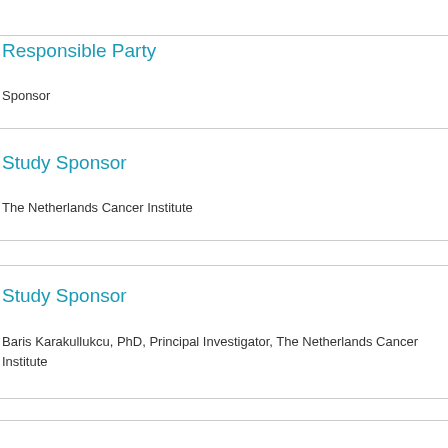Responsible Party
Sponsor
Study Sponsor
The Netherlands Cancer Institute
Study Sponsor
Baris Karakullukcu, PhD, Principal Investigator, The Netherlands Cancer Institute